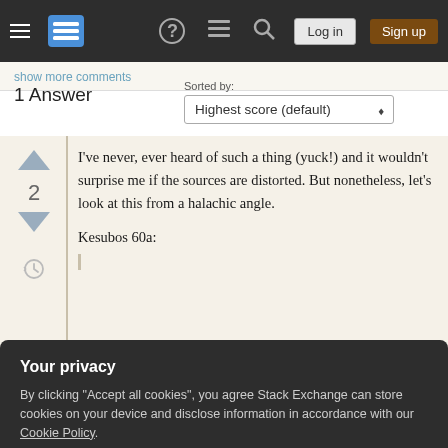Stack Exchange navigation bar with hamburger menu, logo, help, chat, search icons, Log in and Sign up buttons
show more comments
1 Answer
Sorted by: Highest score (default)
I've never, ever heard of such a thing (yuck!) and it wouldn't surprise me if the sources are distorted. But nonetheless, let's look at this from a halachic angle.
Kesubos 60a:
Your privacy
By clicking "Accept all cookies", you agree Stack Exchange can store cookies on your device and disclose information in accordance with our Cookie Policy.
Accept all cookies
Customize settings